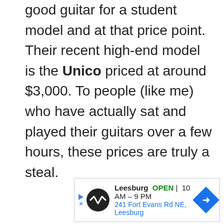good guitar for a student model and at that price point. Their recent high-end model is the Unico priced at around $3,000. To people (like me) who have actually sat and played their guitars over a few hours, these prices are truly a steal.
[Figure (other): Advertisement banner for a Leesburg store showing store name, OPEN status, hours 10AM-9PM, and address 241 Fort Evans Rd NE, Leesburg with a navigation arrow icon]